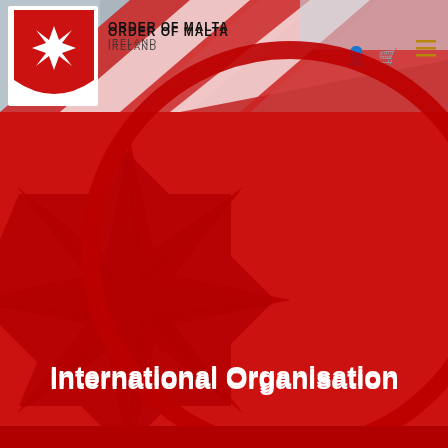[Figure (screenshot): Order of Malta Ireland website header screenshot showing logo, navigation bar with flag imagery, and a red hero section with a star/Maltese emblem graphic and the text 'International Organisation']
ORDER OF MALTA IRELAND
International Organisation